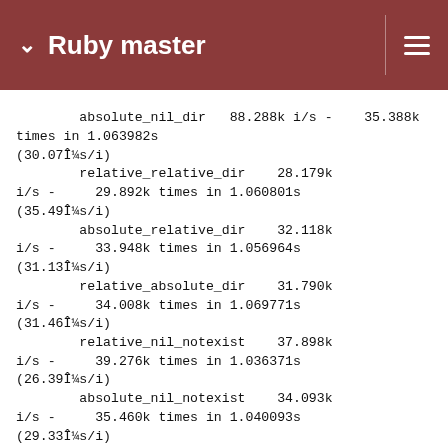Ruby master
absolute_nil_dir   88.288k i/s -    35.388k times in 1.063982s (30.07µs/i)
        relative_relative_dir    28.179k i/s -     29.892k times in 1.060801s (35.49µs/i)
        absolute_relative_dir    32.118k i/s -     33.948k times in 1.056964s (31.13µs/i)
        relative_absolute_dir    31.790k i/s -     34.008k times in 1.069771s (31.46µs/i)
        relative_nil_notexist    37.898k i/s -     39.276k times in 1.036371s (26.39µs/i)
        absolute_nil_notexist    34.093k i/s -     35.460k times in 1.040093s (29.33µs/i)
        relative_relative_notexist    32.874k i/s -     34.464k times in 1.048382s (30.42µs/i)
        absolute_relative_notexist    33.897k i/s -     35.736k times in 1.054244s (29.50µs/i)
        relative_absolute_notexist    28.660k